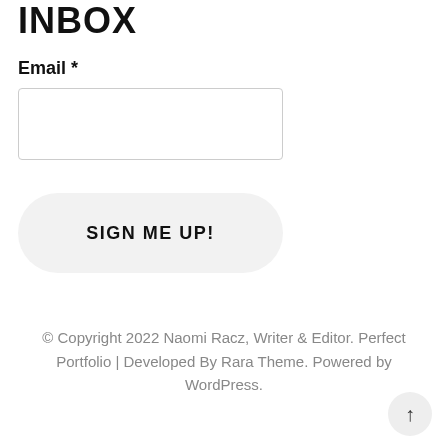INBOX
Email *
SIGN ME UP!
© Copyright 2022 Naomi Racz, Writer & Editor. Perfect Portfolio | Developed By Rara Theme. Powered by WordPress.